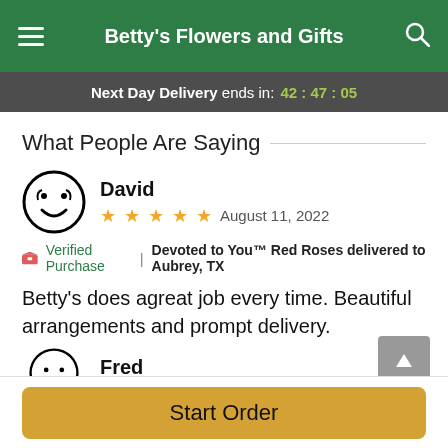Betty's Flowers and Gifts
Next Day Delivery ends in: 42:47:05
What People Are Saying
David
★★★★☆  August 11, 2022
🎀 Verified Purchase | Devoted to You™ Red Roses delivered to Aubrey, TX
Betty's does agreat job every time. Beautiful arrangements and prompt delivery.
Fred